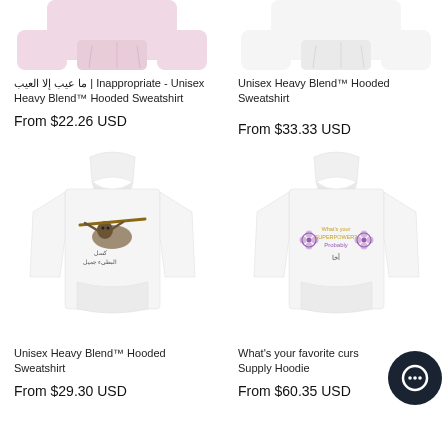[Figure (photo): Pink cropped hoodie sweatshirt product image (top portion)]
[Figure (photo): White hoodie sweatshirt product image (top portion)]
ما عيب إلا العيب | Inappropriate - Unisex Heavy Blend™ Hooded Sweatshirt
Unisex Heavy Blend™ Hooded Sweatshirt
From $22.26 USD
From $33.33 USD
[Figure (photo): White Unisex Heavy Blend hoodie with Arabic sloth graphic design]
[Figure (photo): White Supply Hoodie with purple flower and Arabic text graphic]
Unisex Heavy Blend™ Hooded Sweatshirt
What's your favorite curse word? Supply Hoodie
From $29.30 USD
From $60.35 USD